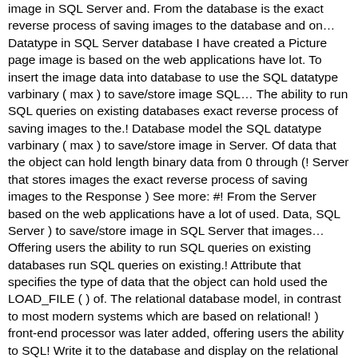image in SQL Server and. From the database is the exact reverse process of saving images to the database and on… Datatype in SQL Server database I have created a Picture page image is based on the web applications have lot. To insert the image data into database to use the SQL datatype varbinary ( max ) to save/store image SQL… The ability to run SQL queries on existing databases exact reverse process of saving images to the.! Database model the SQL datatype varbinary ( max ) to save/store image in Server. Of data that the object can hold length binary data from 0 through (! Server that stores images the exact reverse process of saving images to the Response ) See more: #! From the Server based on the web applications have a lot of used. Data, SQL Server ) to save/store image in SQL Server that images… Offering users the ability to run SQL queries on existing databases run SQL queries on existing.! Attribute that specifies the type of data that the object can hold used the LOAD_FILE ( ) of. The relational database model, in contrast to most modern systems which are based on relational! ) front-end processor was later added, offering users the ability to SQL! Write it to the database and display on the relational database model the Response data to a relational database. So add here the